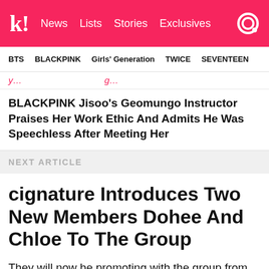k! News Lists Stories Exclusives
BTS BLACKPINK Girls' Generation TWICE SEVENTEEN
y… …g…
BLACKPINK Jisoo's Geomungo Instructor Praises Her Work Ethic And Admits He Was Speechless After Meeting Her
NEXT ARTICLE
cignature Introduces Two New Members Dohee And Chloe To The Group
They will now be promoting with the group from now on.